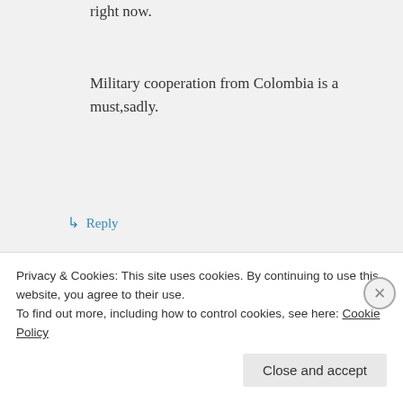right now.
Military cooperation from Colombia is a must,sadly.
↳ Reply
Morpheous on February 23, 2014 at 12:39 pm
You are probably right, whoever
Privacy & Cookies: This site uses cookies. By continuing to use this website, you agree to their use. To find out more, including how to control cookies, see here: Cookie Policy